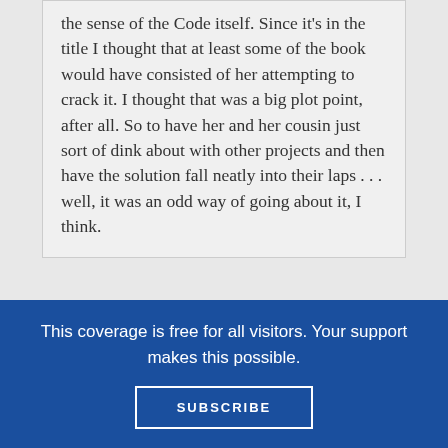the sense of the Code itself. Since it's in the title I thought that at least some of the book would have consisted of her attempting to crack it. I thought that was a big plot point, after all. So to have her and her cousin just sort of dink about with other projects and then have the solution fall neatly into their laps . . . well, it was an odd way of going about it, I think.
Trackbacks
This coverage is free for all visitors. Your support makes this possible.
SUBSCRIBE